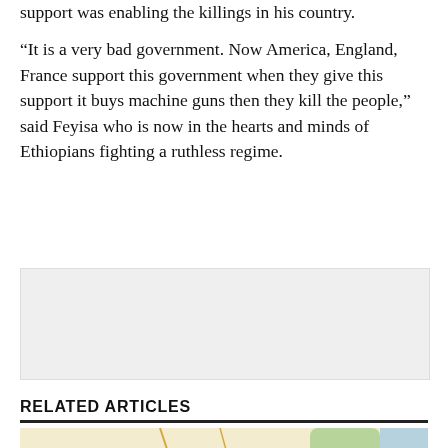support was enabling the killings in his country.
“It is a very bad government. Now America, England, France support this government when they give this support it buys machine guns then they kill the people,” said Feyisa who is now in the hearts and minds of Ethiopians fighting a ruthless regime.
[Figure (other): Advertisement placeholder box (gray rectangle)]
RELATED ARTICLES
[Figure (map): Google Maps image showing Ethiopia with a red location pin labeled 'Gambella Prison' and text 'Ethiopia', with roads and terrain visible. Dire Dawa label visible on right side.]